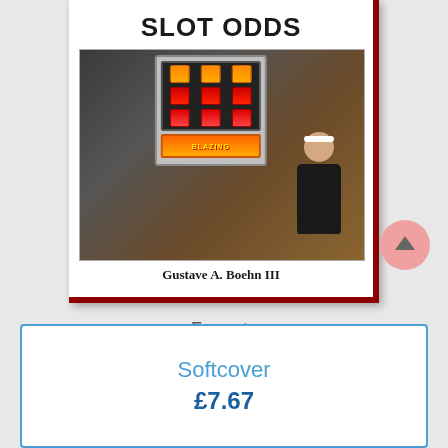SLOT ODDS
[Figure (photo): Book cover of 'Slot Odds' by Gustave A. Boehn III showing a woman standing next to a slot machine holding cash]
Gustave A. Boehn III
Formats
Softcover
£7.67